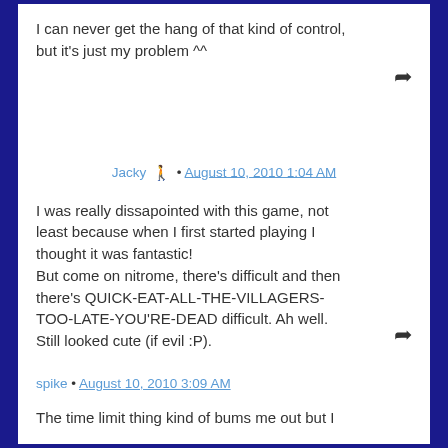I can never get the hang of that kind of control, but it's just my problem ^^
Jacky • August 10, 2010 1:04 AM
I was really dissapointed with this game, not least because when I first started playing I thought it was fantastic!
But come on nitrome, there's difficult and then there's QUICK-EAT-ALL-THE-VILLAGERS-TOO-LATE-YOU'RE-DEAD difficult. Ah well. Still looked cute (if evil :P).
spike • August 10, 2010 3:09 AM
The time limit thing kind of bums me out but I